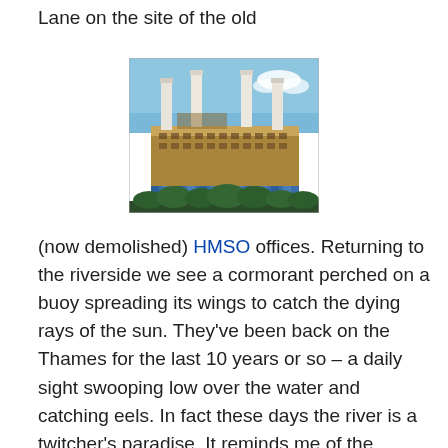Lane on the site of the old
[Figure (photo): Photograph of Battersea Power Station with four white chimney stacks against a blue sky, with blue hoardings around the base.]
(now demolished) HMSO offices. Returning to the riverside we see a cormorant perched on a buoy spreading its wings to catch the dying rays of the sun. They've been back on the Thames for the last 10 years or so – a daily sight swooping low over the water and catching eels. In fact these days the river is a twitcher's paradise. It reminds me of the RSPB's excellent Letter to the Future campaign currently running – please give it a look and then sign the letter.